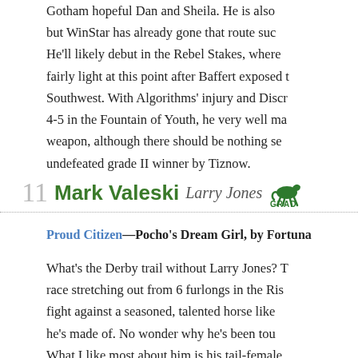Gotham hopeful Dan and Sheila. He is also but WinStar has already gone that route suc He'll likely debut in the Rebel Stakes, where fairly light at this point after Baffert exposed t Southwest. With Algorithms' injury and Discr 4-5 in the Fountain of Youth, he very well ma weapon, although there should be nothing se undefeated grade II winner by Tiznow.
11  Mark Valeski  Larry Jones  GRAD
Proud Citizen—Pocho's Dream Girl, by Fortuna
What's the Derby trail without Larry Jones? T race stretching out from 6 furlongs in the Ris fight against a seasoned, talented horse like he's made of. No wonder why he's been tou What I like most about him is his tail-female best of C.V. Whitney. Third dam Silver True w